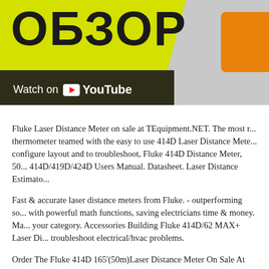[Figure (screenshot): YouTube video thumbnail with large Cyrillic text 'ОБЗОР' on yellow-green background with dark overlay bar showing 'Watch on YouTube' logo]
Fluke Laser Distance Meter on sale at TEquipment.NET. The most r... thermometer teamed with the easy to use 414D Laser Distance Mete... configure layout and to troubleshoot, Fluke 414D Distance Meter, 50... 414D/419D/424D Users Manual. Datasheet. Laser Distance Estimato...
Fast & accurate laser distance meters from Fluke. - outperforming so... with powerful math functions, saving electricians time & money. Ma... your category. Accessories Building Fluke 414D/62 MAX+ Laser Di... troubleshoot electrical/hvac problems.
Order The Fluke 414D 165'(50m)Laser Distance Meter On Sale At T... The Fluke 414D laser meter posses a distance measuring laser with a... Fast & easy to use, improves accuracy, reduces measurement errors.